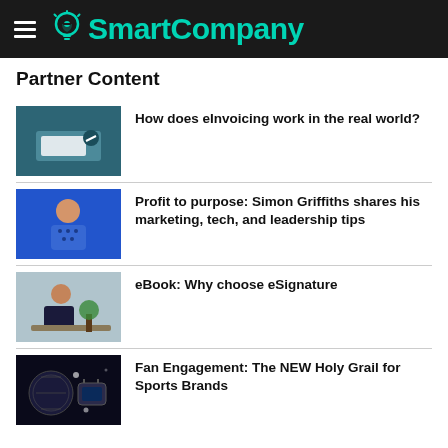SmartCompany
Partner Content
How does eInvoicing work in the real world?
Profit to purpose: Simon Griffiths shares his marketing, tech, and leadership tips
eBook: Why choose eSignature
Fan Engagement: The NEW Holy Grail for Sports Brands